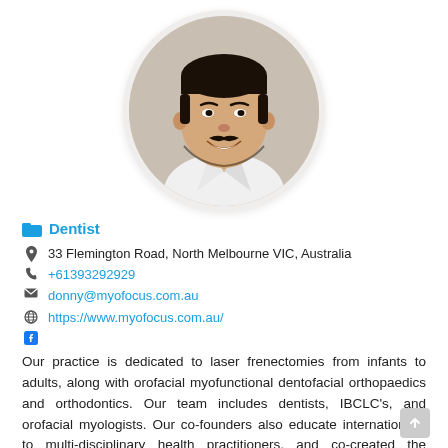[Figure (photo): Circular headshot photo of a smiling Asian man with a mustache and beard, wearing a white shirt, against a beige background.]
Dentist
33 Flemington Road, North Melbourne VIC, Australia
+61393292929
donny@myofocus.com.au
https://www.myofocus.com.au/
[Figure (logo): Facebook icon (blue f logo)]
Our practice is dedicated to laser frenectomies from infants to adults, along with orofacial myofunctional dentofacial orthopaedics and orthodontics. Our team includes dentists, IBCLC's, and orofacial myologists. Our co-founders also educate internationally to multi-disciplinary health practitioners, and co-created the Myofocus Orofacial